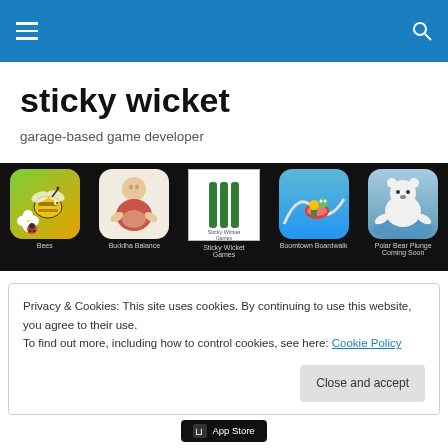Navigation bar with hamburger menu and search icon
sticky wicket
garage-based game developer
[Figure (screenshot): Row of five mobile game app icons on black background: Bees, Buddha Balance, Sticky Wicket Games, Boomtown Boardwalk, Polar Bear Plunge Coming Soon]
Privacy & Cookies: This site uses cookies. By continuing to use this website, you agree to their use.
To find out more, including how to control cookies, see here: Cookie Policy
Close and accept